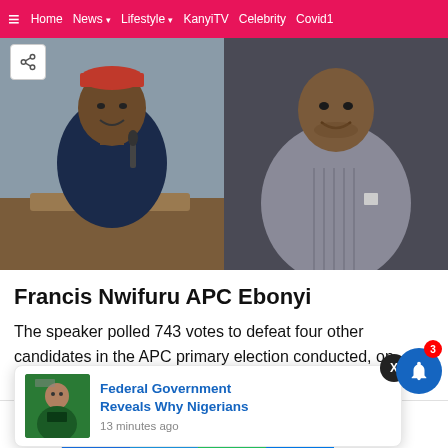≡  Home  News ▾  Lifestyle ▾  KanyiTV  Celebrity  Covid1
[Figure (photo): Two side-by-side portraits: left shows a man in traditional Nigerian attire with a red cap seated at a desk with a gavel; right shows a man in a grey striped outfit smiling at camera.]
Francis Nwifuru APC Ebonyi
The speaker polled 743 votes to defeat four other candidates in the APC primary election conducted, on ...adium,
[Figure (screenshot): Pop-up notification card showing a thumbnail of a man speaking at a podium and the text: Federal Government Reveals Why Nigerians — 13 minutes ago]
↑ Shares  [Facebook]  [Twitter]  [WhatsApp]  [Messenger]